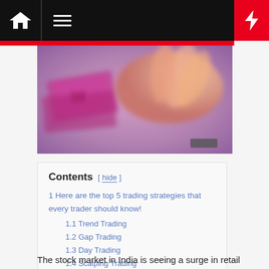Navigation bar with home icon, menu icon, and bolt icon
[Figure (photo): Blurred close-up photo of Indian currency notes and a hand, with purple and pink tones]
Contents [ hide ]
1 Here are the top 5 trading strategies that every trader should know!
1.1 Trend Trading
1.2 Gap Trading
1.3 Day Trading
1.4 Scalping Trading
1.5 Position Trading
1.5.1 In a Nutshell
The stock market in India is seeing a surge in retail